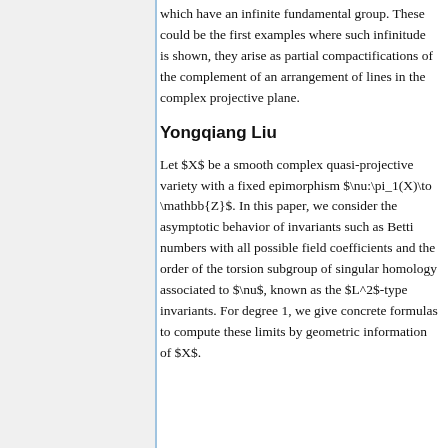which have an infinite fundamental group. These could be the first examples where such infinitude is shown, they arise as partial compactifications of the complement of an arrangement of lines in the complex projective plane.
Yongqiang Liu
Let $X$ be a smooth complex quasi-projective variety with a fixed epimorphism $\nu:\pi_1(X)\to \mathbb{Z}$. In this paper, we consider the asymptotic behavior of invariants such as Betti numbers with all possible field coefficients and the order of the torsion subgroup of singular homology associated to $\nu$, known as the $L^2$-type invariants. For degree 1, we give concrete formulas to compute these limits by geometric information of $X$.